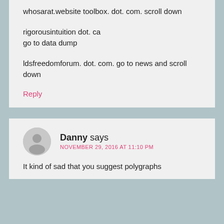whosarat.website toolbox. dot. com. scroll down

rigorousintuition dot. ca
go to data dump

ldsfreedomforum. dot. com. go to news and scroll down
Reply
Danny says
NOVEMBER 29, 2016 AT 11:10 PM
It kind of sad that you suggest polygraphs